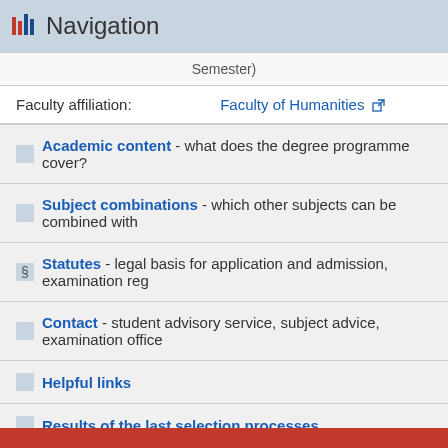Navigation
Semester)
Faculty affiliation: Faculty of Humanities
Academic content - what does the degree programme cover?
Subject combinations - which other subjects can be combined with
§ Statutes - legal basis for application and admission, examination reg
Contact - student advisory service, subject advice, examination office
Helpful links
Results of the last selection processes
Lottery procedure - allocation by lottery of places that are still availa